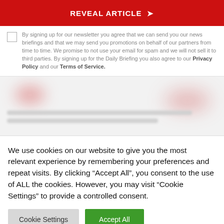REVEAL ARTICLE ❯
By signing up for our newsletter you agree that we can send you our news briefings and that we may send you promotions on behalf of our partners from time to time. We promise to not use your email for spam and we will not sell it to third parties. By signing up for the Daily Briefing you also agree to our Privacy Policy and our Terms of Service.
[Figure (other): Blurred/redacted content area with red-toned blurred shapes on a light grey background]
We use cookies on our website to give you the most relevant experience by remembering your preferences and repeat visits. By clicking “Accept All”, you consent to the use of ALL the cookies. However, you may visit “Cookie Settings” to provide a controlled consent.
Cookie Settings
Accept All